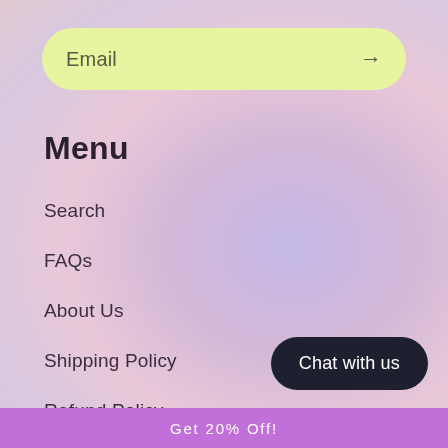[Figure (infographic): Email input field with light green/yellow background, rounded pill shape, placeholder text 'Email' and right arrow button]
Menu
Search
FAQs
About Us
Shipping Policy
Refund Policy
Privacy Policy
Chat with us
Get 20% Off!